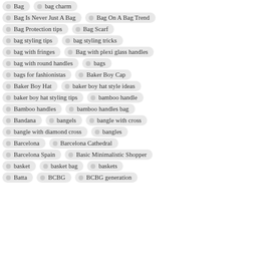Bag
bag charm
Bag Is Never Just A Bag
Bag On A Bag Trend
Bag Protection tips
Bag Scarf
bag styling tips
bag styling tricks
bag with fringes
Bag with plexi glass handles
bag with round handles
bags
bags for fashionistas
Baker Boy Cap
Baker Boy Hat
baker boy hat style ideas
baker boy hat styling tips
bamboo handle
Bamboo handles
bamboo handles bag
Bandana
bangels
bangle with cross
bangle with diamond cross
bangles
Barcelona
Barcelona Cathedral
Barcelona Spain
Basic Minimalistic Shopper
basket
basket bag
baskets
Batta
BCBG
BCBG generation